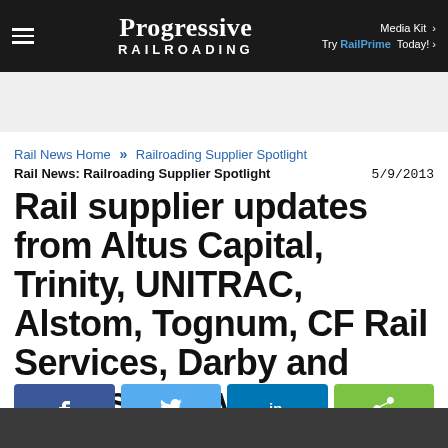Progressive Railroading — Media Kit | Try RailPrime Today!
[Figure (other): Advertisement banner area, light gray background]
Rail News Home >> Railroading Supplier Spotlight
Rail News: Railroading Supplier Spotlight   5/9/2013
Rail supplier updates from Altus Capital, Trinity, UNITRAC, Alstom, Tognum, CF Rail Services, Darby and IMPulse (May 9)
[Figure (other): Social share buttons: Facebook (blue), Twitter (light blue), LinkedIn (dark blue), Share (green)]